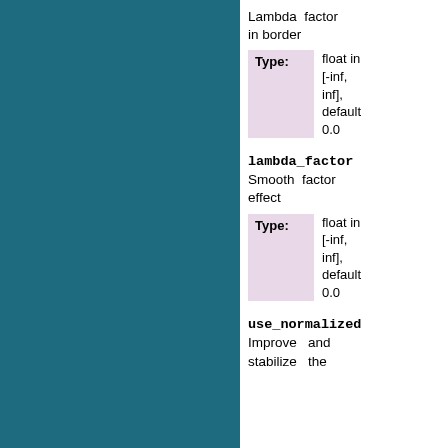Lambda factor in border
Type: float in [-inf, inf], default 0.0
lambda_factor
Smooth factor effect
Type: float in [-inf, inf], default 0.0
use_normalized
Improve and stabilize the